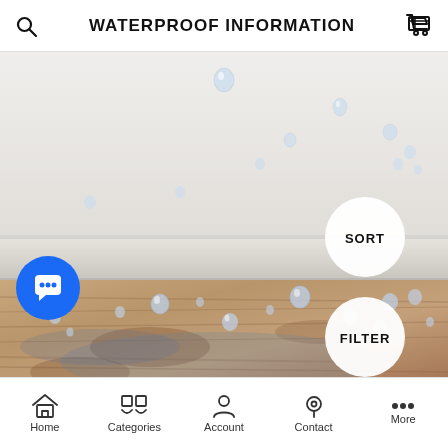WATERPROOF INFORMATION
[Figure (photo): Photo of water drops beading on a white bathtub edge and a wood laminate floor, demonstrating waterproof properties. SORT and FILTER circular buttons overlay the image at the right side.]
Home  Categories  Account  Contact  More